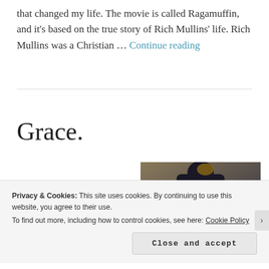that changed my life. The movie is called Ragamuffin, and it's based on the true story of Rich Mullins' life. Rich Mullins was a Christian … Continue reading
Grace.
[Figure (photo): A person photographed from behind outdoors, wearing dark clothing, with foliage and natural scenery in the background.]
Privacy & Cookies: This site uses cookies. By continuing to use this website, you agree to their use.
To find out more, including how to control cookies, see here: Cookie Policy
Close and accept